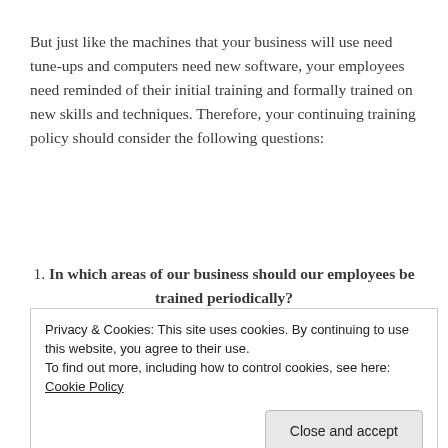But just like the machines that your business will use need tune-ups and computers need new software, your employees need reminded of their initial training and formally trained on new skills and techniques. Therefore, your continuing training policy should consider the following questions:
1. In which areas of our business should our employees be trained periodically?
Privacy & Cookies: This site uses cookies. By continuing to use this website, you agree to their use. To find out more, including how to control cookies, see here: Cookie Policy
require re-training, as a person is bound to forget the